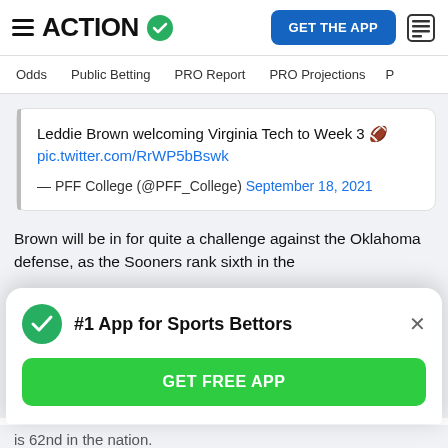ACTION
Odds  Public Betting  PRO Report  PRO Projections
Leddie Brown welcoming Virginia Tech to Week 3 🏈 pic.twitter.com/RrWP5bBswk
— PFF College (@PFF_College) September 18, 2021
Brown will be in for quite a challenge against the Oklahoma defense, as the Sooners rank sixth in the
#1 App for Sports Bettors
GET FREE APP
is 62nd in the nation.